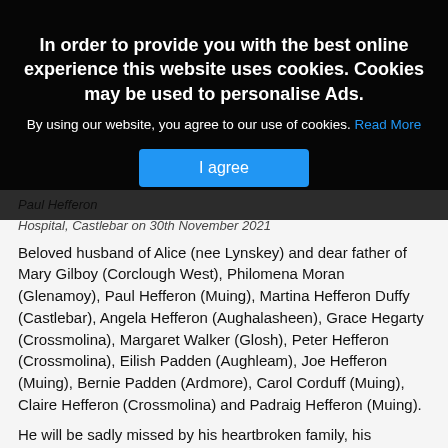[Figure (photo): Dark background photo of a person, partially visible behind cookie consent overlay]
In order to provide you with the best online experience this website uses cookies. Cookies may be used to personalise Ads.

By using our website, you agree to our use of cookies. Read More

[I agree button]
Paul Hefferon
Hospital, Castlebar on 30th November 2021
Beloved husband of Alice (nee Lynskey) and dear father of Mary Gilboy (Corclough West), Philomena Moran (Glenamoy), Paul Hefferon (Muing), Martina Hefferon Duffy (Castlebar), Angela Hefferon (Aughalasheen), Grace Hegarty (Crossmolina), Margaret Walker (Glosh), Peter Hefferon (Crossmolina), Eilish Padden (Aughleam), Joe Hefferon (Muing), Bernie Padden (Ardmore), Carol Corduff (Muing), Claire Hefferon (Crossmolina) and Padraig Hefferon (Muing).
He will be sadly missed by his heartbroken family, his daughters & sons in law, grandchildren & great grandchildren, brothers Martin Hefferon (Muing), Bertie Hefferon (Muing) and Desmond Hefferon (Church Road, Belmullet), sisters Una Philips